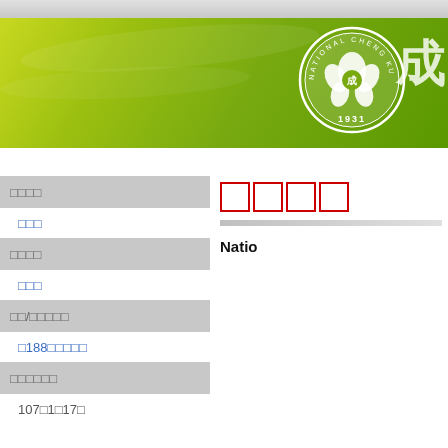[Figure (logo): National Cheng Kung University header banner with green gradient background, circular university seal (NCKU 1931) and Chinese characters]
□□□
□□□□
□□□
□□/□□□□□
□188□□□□□
□□□□□□
107□1□17□
□□□□
Natio